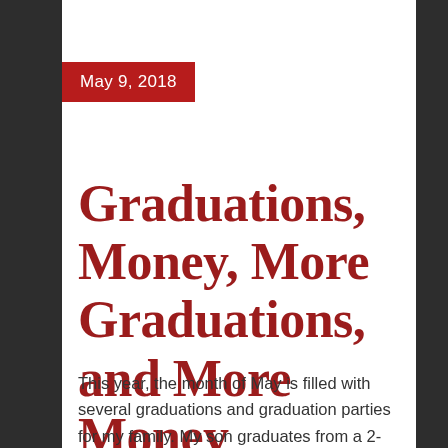May 9, 2018
Graduations, Money, More Graduations, and More Money
This year, the month of May is filled with several graduations and graduation parties for my family. My son graduates from a 2-year college program as well